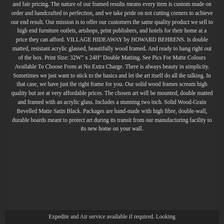and fair pricing. The nature of our framed results means every item is custom made on order and handcrafted to perfection, and we take pride on not cutting corners to achieve our end result. Our mission is to offer our customers the same quality product we sell to high end furniture outlets, artshops, print publishers, and hotels for their home at a price they can afford. VILLAGE HIDEAWAY by HOWARD BEHRENS. Is double matted, resistant acrylic glassed, beautifully wood framed. And ready to hang right out of the box. Print Size: 32W" x 24H" Double Matting. See Pics For Matte Colours Available To Choose From at No Extra Charge. There is always beauty in simplicity. Sometimes we just want to stick to the basics and let the art itself do all the talking. In that case, we have just the right frame for you. Our solid wood frames scream high quality but are at very affordable prices. The chosen art will be mounted, double matted and framed with an acrylic glass. Includes a stunning two inch. Solid Wood-Grain Bevelled Matte Satin Black. Packages are hand-made with high fibre, double-wall, durable boards meant to protect art during its transit from our manufacturing facility to its new home on your wall.
Expedite and Air service available if required. Looking